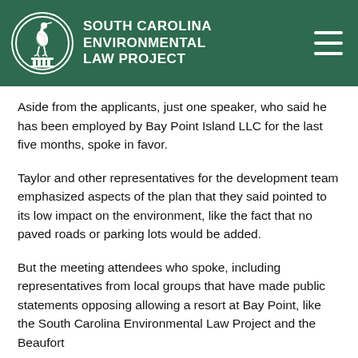South Carolina Environmental Law Project
Aside from the applicants, just one speaker, who said he has been employed by Bay Point Island LLC for the last five months, spoke in favor.
Taylor and other representatives for the development team emphasized aspects of the plan that they said pointed to its low impact on the environment, like the fact that no paved roads or parking lots would be added.
But the meeting attendees who spoke, including representatives from local groups that have made public statements opposing allowing a resort at Bay Point, like the South Carolina Environmental Law Project and the Beaufort